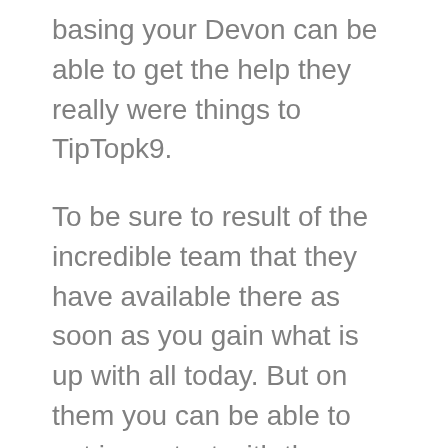basing your Devon can be able to get the help they really were things to TipTopk9.
To be sure to result of the incredible team that they have available there as soon as you gain what is up with all today. But on them you can be able to get in contact with the wonderful time trainers is now for going above and beyond really going the extra mile for each and every person especially when it comes to the dog training Owasso that they provide. You are to be able to see a huge change within your doctors within a relatively short amount of time, and guarantee that you